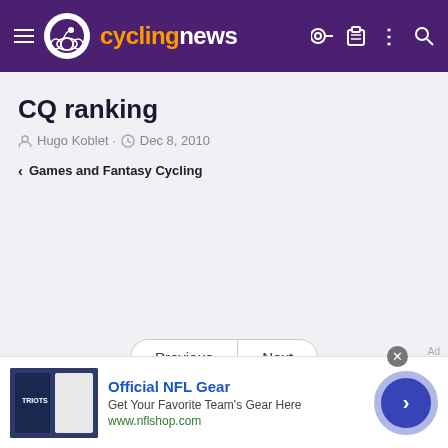cyclingnews
CQ ranking
Hugo Koblet · Dec 8, 2010
< Games and Fantasy Cycling
Previous | Next
[Figure (screenshot): Advertisement banner for Official NFL Gear from nflshop.com showing football jerseys and a right-arrow navigation button]